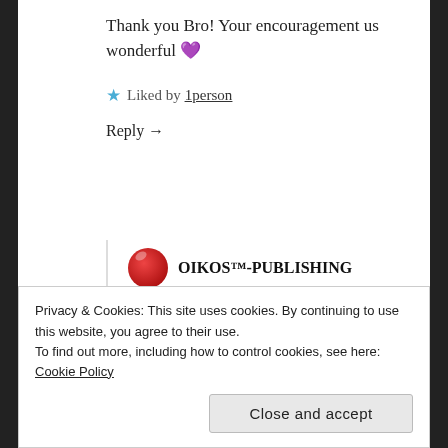Thank you Bro! Your encouragement us wonderful 💜
★ Liked by 1person
Reply →
OIKOS™-PUBLISHING
August 15, 2019 at 10:52 pm
:-)) My pleasure. Very kind of you.
Privacy & Cookies: This site uses cookies. By continuing to use this website, you agree to their use.
To find out more, including how to control cookies, see here: Cookie Policy
Close and accept